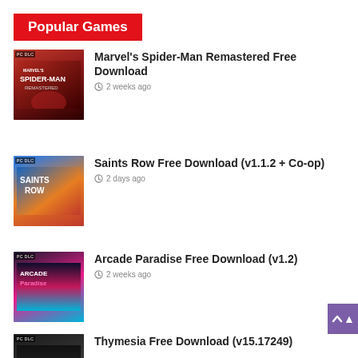Popular Games
[Figure (photo): Marvel's Spider-Man Remastered game cover art thumbnail]
Marvel's Spider-Man Remastered Free Download
2 weeks ago
[Figure (photo): Saints Row game cover art thumbnail]
Saints Row Free Download (v1.1.2 + Co-op)
2 days ago
[Figure (photo): Arcade Paradise game cover art thumbnail]
Arcade Paradise Free Download (v1.2)
2 weeks ago
[Figure (photo): Thymesia game cover art thumbnail]
Thymesia Free Download (v15.17249)